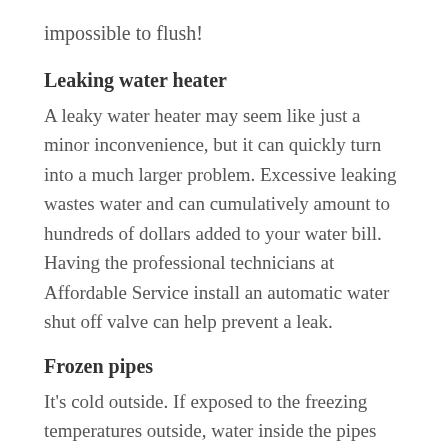impossible to flush!
Leaking water heater
A leaky water heater may seem like just a minor inconvenience, but it can quickly turn into a much larger problem. Excessive leaking wastes water and can cumulatively amount to hundreds of dollars added to your water bill. Having the professional technicians at Affordable Service install an automatic water shut off valve can help prevent a leak.
Frozen pipes
It's cold outside. If exposed to the freezing temperatures outside, water inside the pipes will freeze and expand, potentially rupturing